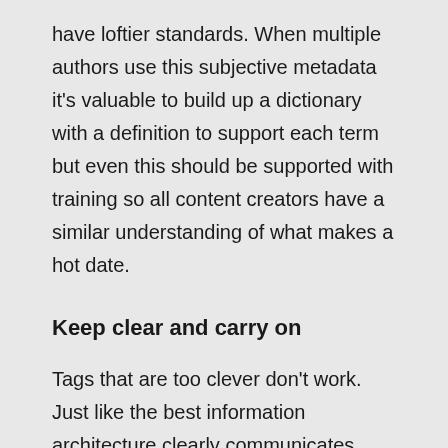have loftier standards. When multiple authors use this subjective metadata it's valuable to build up a dictionary with a definition to support each term but even this should be supported with training so all content creators have a similar understanding of what makes a hot date.
Keep clear and carry on
Tags that are too clever don't work. Just like the best information architecture clearly communicates what falls on pages, keywords and tags should be easily applied and understood. This blog plays around with